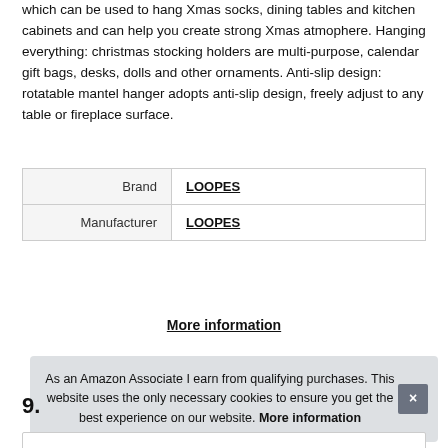which can be used to hang Xmas socks, dining tables and kitchen cabinets and can help you create strong Xmas atmophere. Hanging everything: christmas stocking holders are multi-purpose, calendar gift bags, desks, dolls and other ornaments. Anti-slip design: rotatable mantel hanger adopts anti-slip design, freely adjust to any table or fireplace surface.
| Brand | LOOPES |
| Manufacturer | LOOPES |
More information
As an Amazon Associate I earn from qualifying purchases. This website uses the only necessary cookies to ensure you get the best experience on our website. More information